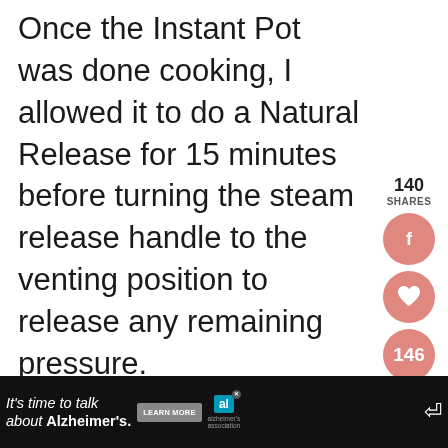Once the Instant Pot was done cooking, I allowed it to do a Natural Release for 15 minutes before turning the steam release handle to the venting position to release any remaining pressure.
[Figure (infographic): Social sharing sidebar with 140 SHARES count, Facebook button (pink circle with f), heart/save button (pink circle with heart), 146 count badge (pink circle), and share button (pink circle with share icon)]
[Figure (infographic): WHAT'S NEXT arrow callout with food thumbnail image and text 'Instant Pot Venison Ru...']
[Figure (photo): Dark brown food photo strip at bottom of content area]
[Figure (screenshot): Advertisement bar: black background with white italic text 'It's time to talk about Alzheimer's.' with LEARN MORE button and Alzheimer's Association logo]